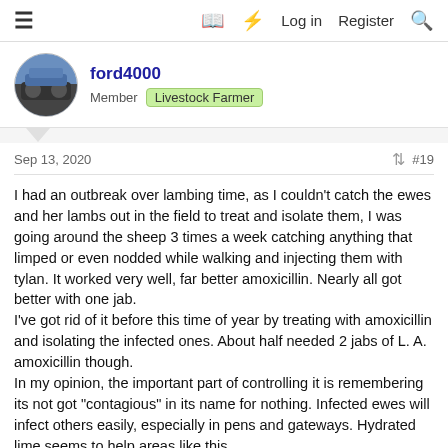≡  □  ⚡  Log in  Register  🔍
ford4000
Member  Livestock Farmer
Sep 13, 2020  #19
I had an outbreak over lambing time, as I couldn't catch the ewes and her lambs out in the field to treat and isolate them, I was going around the sheep 3 times a week catching anything that limped or even nodded while walking and injecting them with tylan. It worked very well, far better amoxicillin. Nearly all got better with one jab.
I've got rid of it before this time of year by treating with amoxicillin and isolating the infected ones. About half needed 2 jabs of L. A. amoxicillin though.
In my opinion, the important part of controlling it is remembering its not got "contagious" in its name for nothing. Infected ewes will infect others easily, especially in pens and gateways. Hydrated lime seems to help areas like this